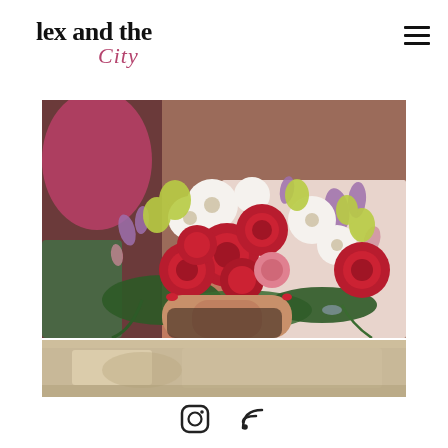[Figure (logo): Blog logo: 'lex and the City' in serif font, 'City' in italic pink/mauve script]
[Figure (photo): Person holding a large floral bouquet with red roses, white flowers, pink blooms, and purple accents, wearing a light pink dress]
[Figure (photo): Partial bottom image, blurred background scene]
[Figure (other): Social media icons: Instagram and RSS feed icons centered at the bottom]